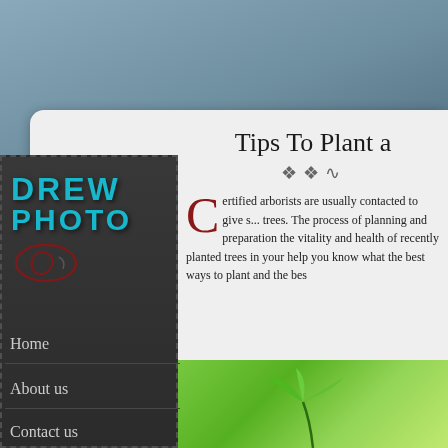[Figure (screenshot): Website screenshot showing a gardening/nature blog with a dark sidebar navigation and white content area]
Tips To Plant a
Certified arborists are usually contacted to give s... trees. The process of planning and preparation ... the vitality and health of recently planted trees in your... help you know what the best ways to plant and the bes...
Home
About us
Contact us
[Figure (photo): Close-up photo of a young green plant seedling against a bright green background]